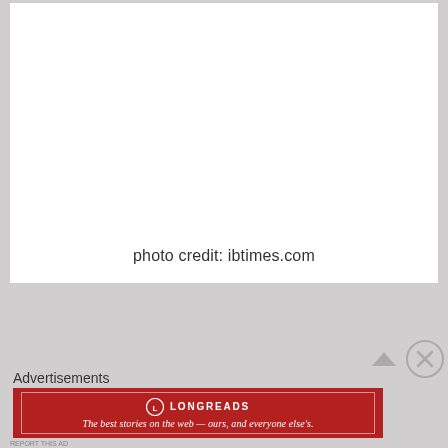[Figure (photo): Large white/blank photo area with photo credit text at the bottom center]
photo credit: ibtimes.com
Advertisements
[Figure (logo): Longreads advertisement banner in red with logo and tagline: The best stories on the web — ours, and everyone else's.]